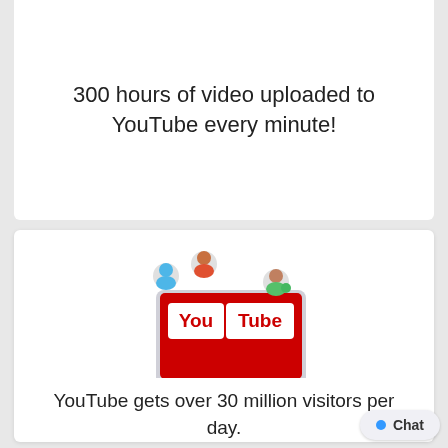300 hours of video uploaded to YouTube every minute!
[Figure (illustration): Monitor displaying YouTube logo with three cartoon user avatar icons floating above/beside it]
YouTube gets over 30 million visitors per day.
[Figure (illustration): Clock with a green play button and YouTube logo, partially visible at bottom]
Chat